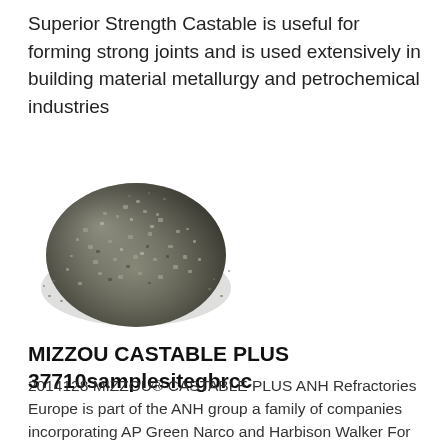Superior Strength Castable is useful for forming strong joints and is used extensively in building material metallurgy and petrochemical industries
[Figure (photo): Pile of grey granular castable refractory material (gravel-like aggregate) on a white background]
MIZZOU CASTABLE PLUS 37710samplesitegbrcc
2014128 MIZZOU® CASTABLE PLUS ANH Refractories Europe is part of the ANH group a family of companies incorporating AP Green Narco and Harbison Walker For more information Tel+440151 641 5900 Email sales@anheuropeuk Web /p>